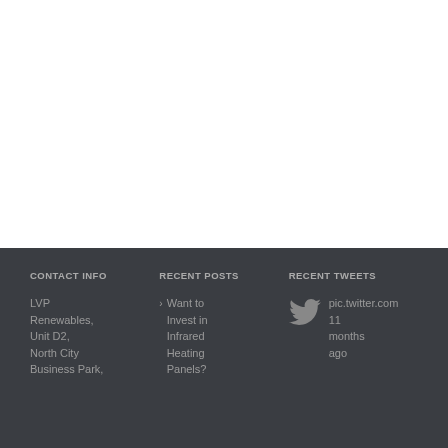CONTACT INFO | RECENT POSTS | RECENT TWEETS
LVP Renewables, Unit D2, North City Business Park,
Want to Invest in Infrared Heating Panels?
pic.twitter.com 11 months ago